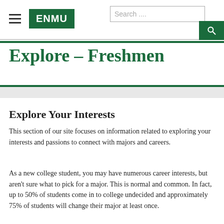ENMU | Search
Explore – Freshmen
Explore Your Interests
This section of our site focuses on information related to exploring your interests and passions to connect with majors and careers.
As a new college student, you may have numerous career interests, but aren't sure what to pick for a major. This is normal and common. In fact, up to 50% of students come in to college undecided and approximately 75% of students will change their major at least once.